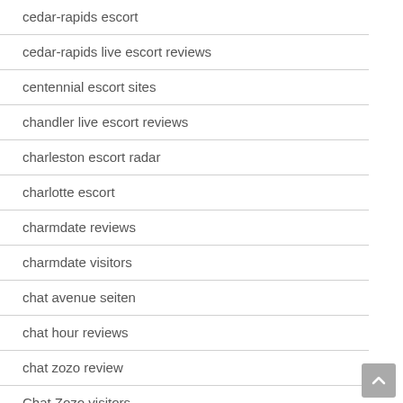cedar-rapids escort
cedar-rapids live escort reviews
centennial escort sites
chandler live escort reviews
charleston escort radar
charlotte escort
charmdate reviews
charmdate visitors
chat avenue seiten
chat hour reviews
chat zozo review
Chat Zozo visitors
chatango review